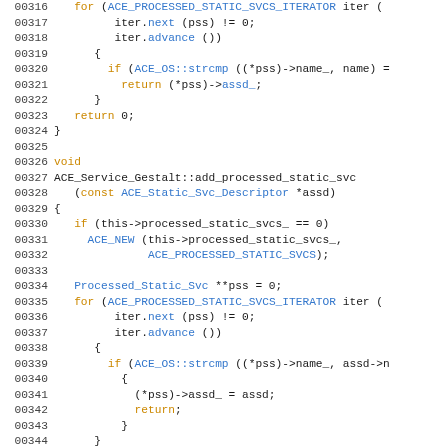Source code listing lines 00316-00345, C++ code for ACE_Service_Gestalt class